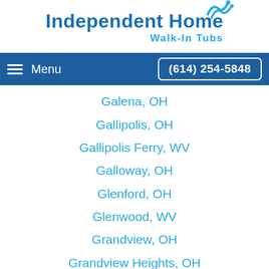[Figure (logo): Independent Home Walk-In Tubs logo with blue wave icon and company name]
Menu  (614) 254-5848
Galena, OH
Gallipolis, OH
Gallipolis Ferry, WV
Galloway, OH
Glenford, OH
Glenwood, WV
Grandview, OH
Grandview Heights, OH
Granville, OH
Green Camp, OH